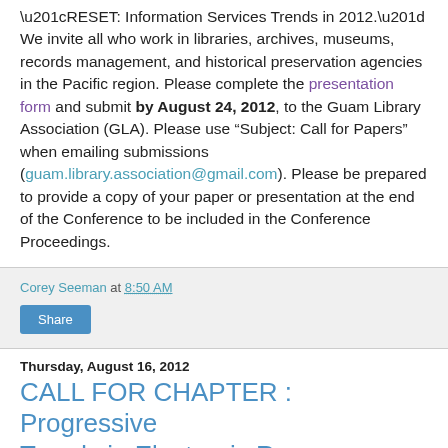“RESET: Information Services Trends in 2012.” We invite all who work in libraries, archives, museums, records management, and historical preservation agencies in the Pacific region. Please complete the presentation form and submit by August 24, 2012, to the Guam Library Association (GLA). Please use “Subject: Call for Papers” when emailing submissions (guam.library.association@gmail.com). Please be prepared to provide a copy of your paper or presentation at the end of the Conference to be included in the Conference Proceedings.
Corey Seeman at 8:50 AM
Share
Thursday, August 16, 2012
CALL FOR CHAPTER : Progressive Trends in Electronic Resources